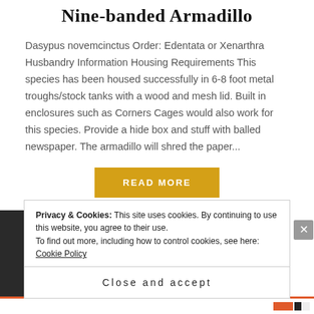Nine-banded Armadillo
Dasypus novemcinctus Order: Edentata or Xenarthra Husbandry Information Housing Requirements This species has been housed successfully in 6-8 foot metal troughs/stock tanks with a wood and mesh lid. Built in enclosures such as Corners Cages would also work for this species. Provide a hide box and stuff with balled newspaper. The armadillo will shred the paper...
READ MORE
Privacy & Cookies: This site uses cookies. By continuing to use this website, you agree to their use.
To find out more, including how to control cookies, see here: Cookie Policy
Close and accept